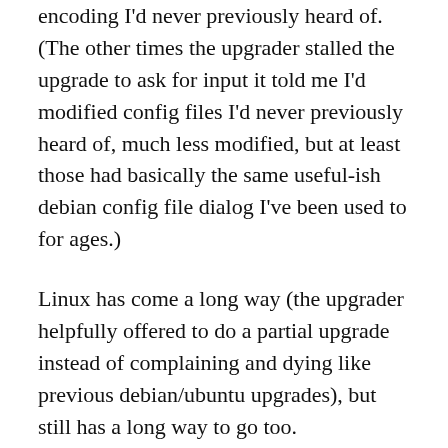encoding I'd never previously heard of. (The other times the upgrader stalled the upgrade to ask for input it told me I'd modified config files I'd never previously heard of, much less modified, but at least those had basically the same useful-ish debian config file dialog I've been used to for ages.)
Linux has come a long way (the upgrader helpfully offered to do a partial upgrade instead of complaining and dying like previous debian/ubuntu upgrades), but still has a long way to go too.
(These weren't the only problems I saw; Gerv has a good list of some of the other ones, though I didn't see all of the ones he did.)